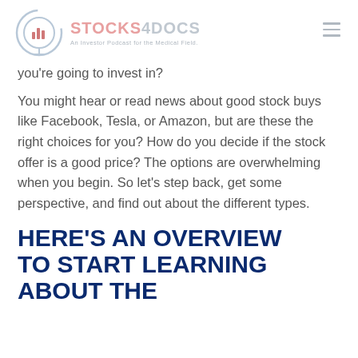STOCKS4DOCS – An Investor Podcast for the Medical Field.
you're going to invest in?
You might hear or read news about good stock buys like Facebook, Tesla, or Amazon, but are these the right choices for you? How do you decide if the stock offer is a good price? The options are overwhelming when you begin. So let's step back, get some perspective, and find out about the different types.
HERE'S AN OVERVIEW TO START LEARNING ABOUT THE